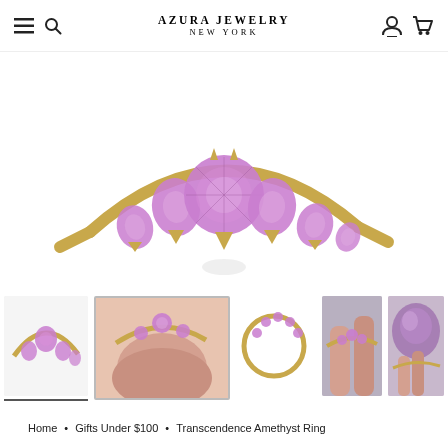AZURA JEWELRY
NEW YORK
[Figure (photo): Close-up of an amethyst ring with multiple purple gemstones set in gold band, viewed from the front]
[Figure (photo): Thumbnail 1: side view of amethyst ring on white background]
[Figure (photo): Thumbnail 2: amethyst ring worn on finger, close-up]
[Figure (photo): Thumbnail 3: top-down view of the gold ring with small amethyst stones]
[Figure (photo): Thumbnail 4: amethyst ring worn on two fingers]
[Figure (photo): Thumbnail 5: ring next to purple amethyst crystal]
Home • Gifts Under $100 • Transcendence Amethyst Ring